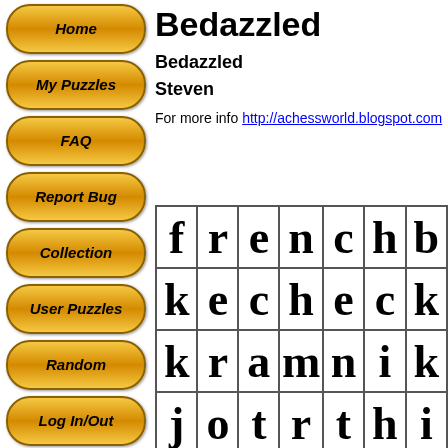Home
My Puzzles
FAQ
Report Bug
Collection
User Puzzles
Random
Log In/Out
Bedazzled
Bedazzled
Steven
For more info http://achessworld.blogspot.com
[Figure (other): Word search puzzle grid showing letters: Row 1: f r e n c h b [cut off]; Row 2: k e c h e c k m [cut off]; Row 3: k r a m n i k [cut off]; Row 4: j o t r t h i [cut off]]